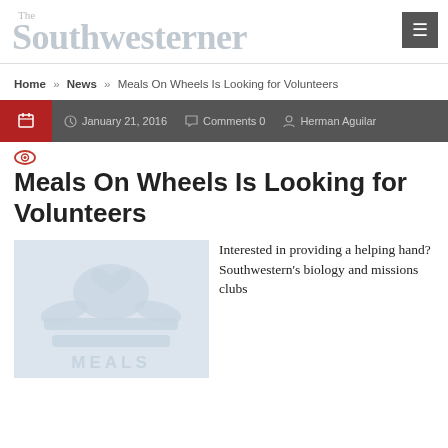The Southwesterner
Home » News » Meals On Wheels Is Looking for Volunteers
January 21, 2016  Comments 0  Herman Aguilar
Meals On Wheels Is Looking for Volunteers
[Figure (illustration): Illustration of a Meals on Wheels logo/figure: a stylized person carrying a tray with a heart, light blue/gray color scheme, text MEALS partially visible at bottom]
Interested in providing a helping hand? Southwestern's biology and missions clubs